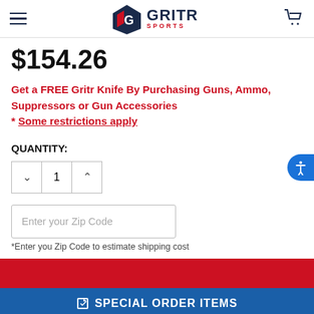GRITR SPORTS
$154.26
Get a FREE Gritr Knife By Purchasing Guns, Ammo, Suppressors or Gun Accessories
* Some restrictions apply
QUANTITY:
1
Enter your Zip Code
*Enter you Zip Code to estimate shipping cost
ADD TO CART
SPECIAL ORDER ITEMS
ADD TO WISH LIST